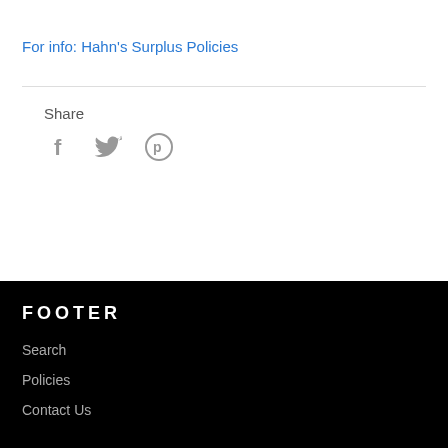For info: Hahn's Surplus Policies
Share
[Figure (other): Social media share icons: Facebook (f), Twitter (bird), Pinterest (p)]
FOOTER
Search
Policies
Contact Us